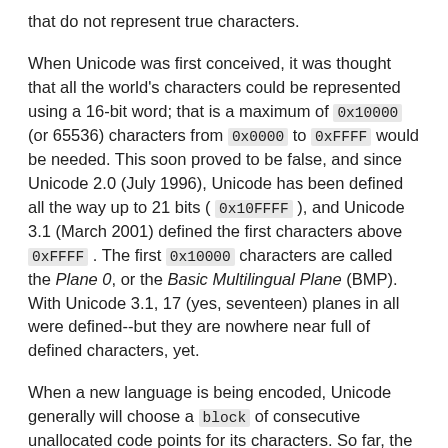that do not represent true characters.
When Unicode was first conceived, it was thought that all the world's characters could be represented using a 16-bit word; that is a maximum of 0x10000 (or 65536) characters from 0x0000 to 0xFFFF would be needed. This soon proved to be false, and since Unicode 2.0 (July 1996), Unicode has been defined all the way up to 21 bits ( 0x10FFFF ), and Unicode 3.1 (March 2001) defined the first characters above 0xFFFF . The first 0x10000 characters are called the Plane 0, or the Basic Multilingual Plane (BMP). With Unicode 3.1, 17 (yes, seventeen) planes in all were defined--but they are nowhere near full of defined characters, yet.
When a new language is being encoded, Unicode generally will choose a block of consecutive unallocated code points for its characters. So far, the number of code points in these blocks has always been evenly divisible by 16. Extras in a block, not currently needed, are left unallocated, for future growth. But there